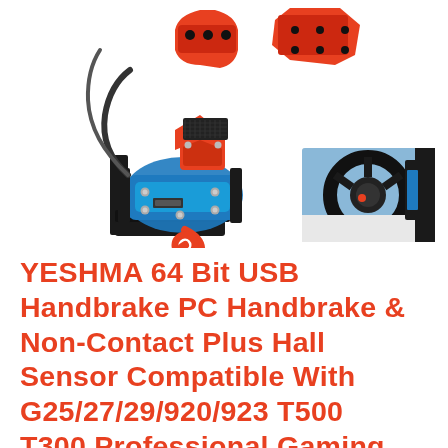[Figure (photo): Product composite photo showing a sim racing USB handbrake device (blue and red anodized aluminum CNC handbrake lever with hardware) from multiple angles, plus an inset image of a racing steering wheel setup.]
YESHMA 64 Bit USB Handbrake PC Handbrake & Non-Contact Plus Hall Sensor Compatible With G25/27/29/920/923 T500 T300,Professional Gaming Peripherals using for